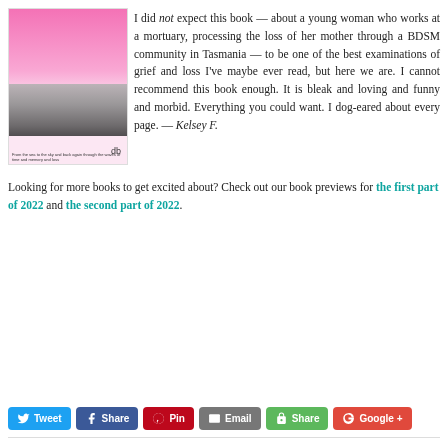[Figure (illustration): Book cover with pink background, black-and-white scene of a person near water at bottom, small text and icon at bottom]
I did not expect this book — about a young woman who works at a mortuary, processing the loss of her mother through a BDSM community in Tasmania — to be one of the best examinations of grief and loss I've maybe ever read, but here we are. I cannot recommend this book enough. It is bleak and loving and funny and morbid. Everything you could want. I dog-eared about every page. — Kelsey F.
Looking for more books to get excited about? Check out our book previews for the first part of 2022 and the second part of 2022.